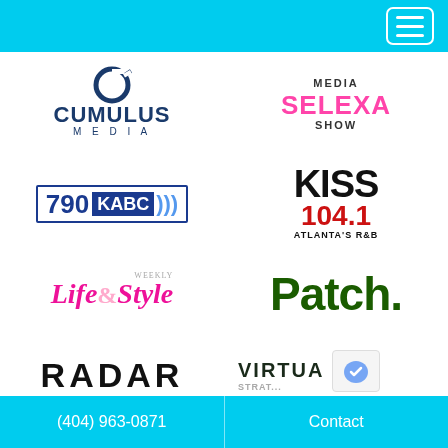[Figure (logo): Navigation bar with hamburger menu icon on cyan/turquoise background]
[Figure (logo): Cumulus Media logo - blue circular icon with C shape, bold CUMULUS MEDIA text]
[Figure (logo): Media Selexa Show logo - pink/magenta stylized text]
[Figure (logo): 790 KABC radio station logo with blue box and radio waves]
[Figure (logo): KISS FM 104.1 Atlanta's R&B radio station logo]
[Figure (logo): Life & Style Weekly magazine logo in pink italic]
[Figure (logo): Patch.com logo in dark green]
[Figure (logo): RADAR logo partially visible at bottom left]
[Figure (logo): VIRTUA logo partially visible at bottom right]
(404) 963-0871
Contact